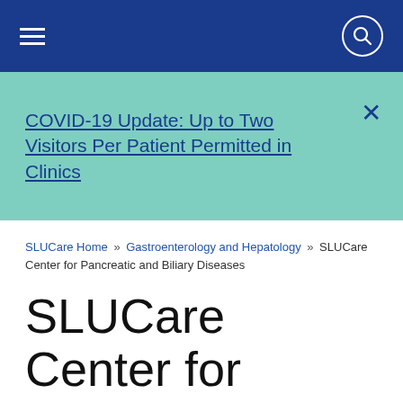Navigation bar with hamburger menu and search icon
COVID-19 Update: Up to Two Visitors Per Patient Permitted in Clinics
SLUCare Home » Gastroenterology and Hepatology » SLUCare Center for Pancreatic and Biliary Diseases
SLUCare Center for Pancreatic and Biliary Diseases